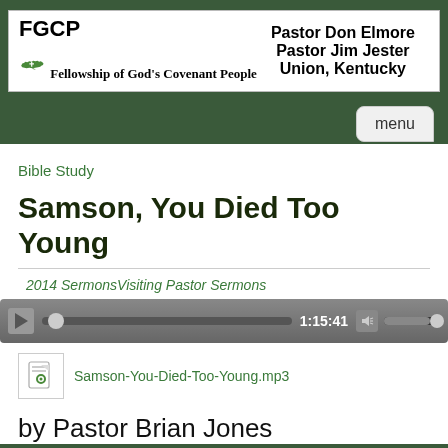[Figure (logo): FGCP - Fellowship of God's Covenant People banner with green Kentucky state map, cross logo, and text: Pastor Don Elmore, Pastor Jim Jester, Union, Kentucky]
menu
Bible Study
Samson, You Died Too Young
2014 SermonsVisiting Pastor Sermons
[Figure (other): Audio player showing time 1:15:41 with play button, progress bar, volume control]
Samson-You-Died-Too-Young.mp3
by Pastor Brian Jones